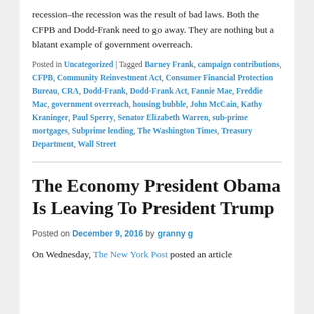recession–the recession was the result of bad laws. Both the CFPB and Dodd-Frank need to go away. They are nothing but a blatant example of government overreach.
Posted in Uncategorized | Tagged Barney Frank, campaign contributions, CFPB, Community Reinvestment Act, Consumer Financial Protection Bureau, CRA, Dodd-Frank, Dodd-Frank Act, Fannie Mae, Freddie Mac, government overreach, housing bubble, John McCain, Kathy Kraninger, Paul Sperry, Senator Elizabeth Warren, sub-prime mortgages, Subprime lending, The Washington Times, Treasury Department, Wall Street
The Economy President Obama Is Leaving To President Trump
Posted on December 9, 2016 by granny g
On Wednesday, The New York Post posted an article